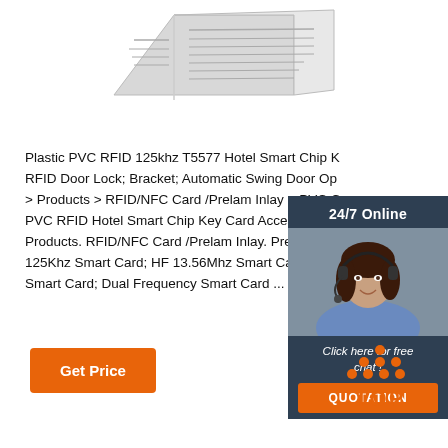[Figure (illustration): Partial view of newspaper/paper folded at top of page]
Plastic PVC RFID 125khz T5577 Hotel Smart Chip K... RFID Door Lock; Bracket; Automatic Swing Door Op... > Products > RFID/NFC Card /Prelam Inlay > PVC C... PVC RFID Hotel Smart Chip Key Card Access Cont... Products. RFID/NFC Card /Prelam Inlay. Prelam Inl... 125Khz Smart Card; HF 13.56Mhz Smart Card; UH... Smart Card; Dual Frequency Smart Card ...
[Figure (infographic): 24/7 Online chat widget with photo of woman wearing headset, Click here for free chat text, and orange QUOTATION button]
[Figure (other): Orange Get Price button]
[Figure (logo): TOP logo with orange dots arranged in triangle shape above orange TOP text]